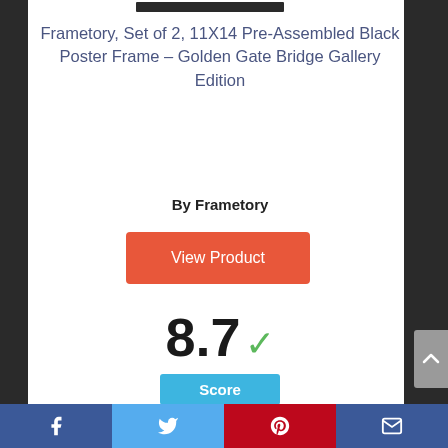Frametory, Set of 2, 11X14 Pre-Assembled Black Poster Frame – Golden Gate Bridge Gallery Edition
By Frametory
[Figure (other): Orange 'View Product' button]
8.7 ✓
Score
[Figure (other): Partial circular score gauge showing number 6]
Facebook | Twitter | Pinterest | Email social share bar